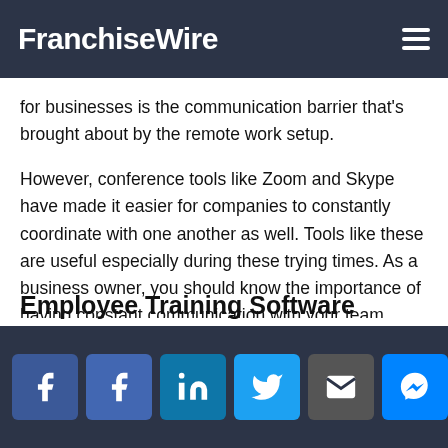FranchiseWire
for businesses is the communication barrier that's brought about by the remote work setup.
However, conference tools like Zoom and Skype have made it easier for companies to constantly coordinate with one another as well. Tools like these are useful especially during these trying times. As a business owner, you should know the importance of having constant communication with your team.
Employee Training Software